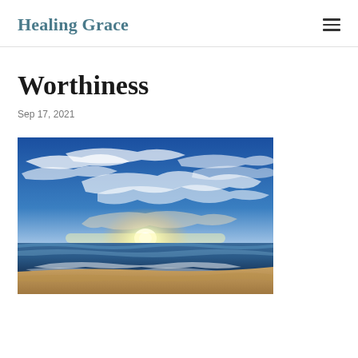Healing Grace
Worthiness
Sep 17, 2021
[Figure (photo): Sunset over a beach with dramatic blue sky filled with wispy clouds and bright sunlight on the horizon, waves lapping sandy shore]